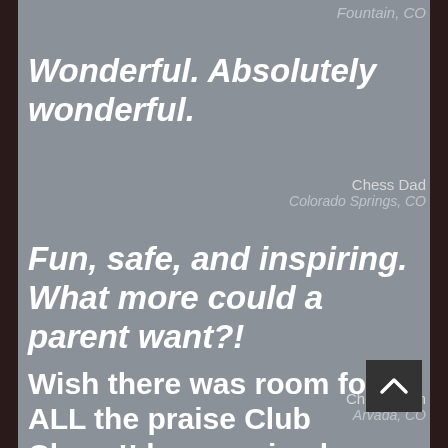Fountain, CO
Wonderful. Absolutely wonderful.
Chess Dad
Colorado Springs, CO
Fun, safe, and inspiring. What more could a parent want?!
Chess Mom
Arvada, CO
Wish there was room for ALL the praise Club Chess!! has received